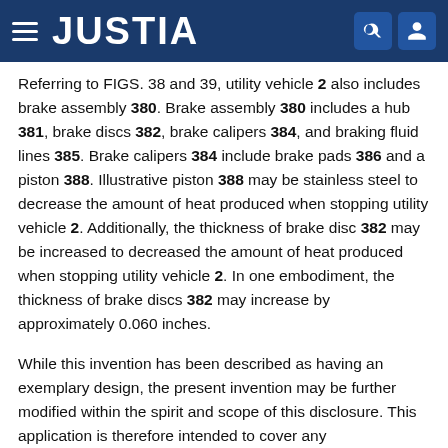JUSTIA
Referring to FIGS. 38 and 39, utility vehicle 2 also includes brake assembly 380. Brake assembly 380 includes a hub 381, brake discs 382, brake calipers 384, and braking fluid lines 385. Brake calipers 384 include brake pads 386 and a piston 388. Illustrative piston 388 may be stainless steel to decrease the amount of heat produced when stopping utility vehicle 2. Additionally, the thickness of brake disc 382 may be increased to decreased the amount of heat produced when stopping utility vehicle 2. In one embodiment, the thickness of brake discs 382 may increase by approximately 0.060 inches.
While this invention has been described as having an exemplary design, the present invention may be further modified within the spirit and scope of this disclosure. This application is therefore intended to cover any